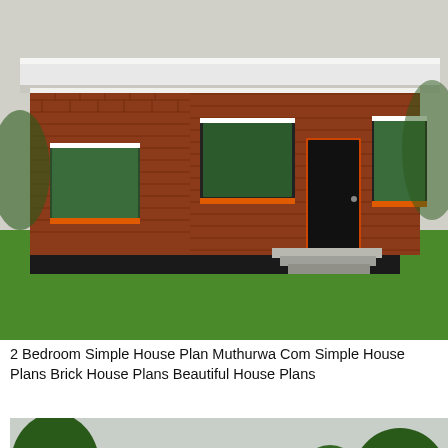[Figure (photo): 3D rendering of a small modern single-story house with red brick walls, flat roof with white fascia, black-framed windows with orange trim accents, a dark front door with steps, surrounded by green grass.]
2 Bedroom Simple House Plan Muthurwa Com Simple House Plans Brick House Plans Beautiful House Plans
[Figure (photo): Photograph of a large two-story stone and brick luxury mansion with gabled roofs, arched entryway with double doors, multiple dormer windows, tall trees in background, manicured landscaping in foreground.]